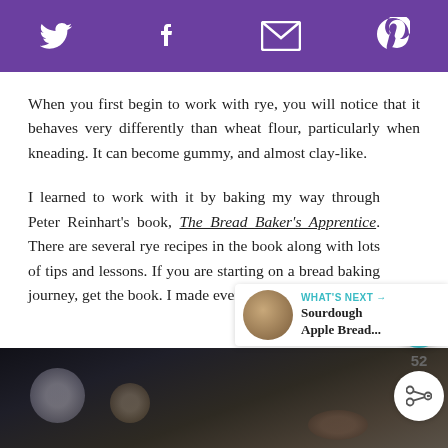[Social share bar: Twitter, Facebook, Email, Pinterest]
When you first begin to work with rye, you will notice that it behaves very differently than wheat flour, particularly when kneading. It can become gummy, and almost clay-like.
I learned to work with it by baking my way through Peter Reinhart's book, The Bread Baker's Apprentice. There are several rye recipes in the book along with lots of tips and lessons. If you are starting on a bread baking journey, get the book. I made every-single-recipe.
[Figure (screenshot): Social widget showing heart/like button with teal background, count of 52, and share button]
[Figure (photo): Dark moody photo of bread loaves at bottom of page]
WHAT'S NEXT → Sourdough Apple Bread...